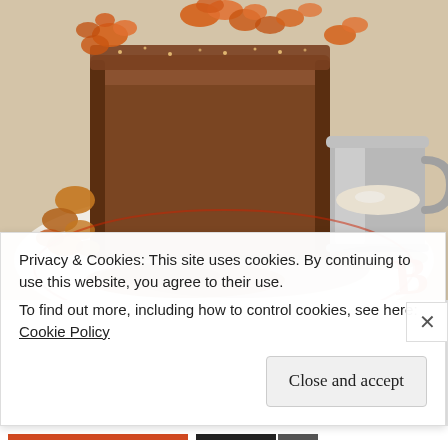[Figure (photo): Close-up photo of a thick slice of bread (French toast) dusted with sugar and topped with candied nuts/dried fruit pieces, served on a plate with a metal cup of cream/milk. The plate has a red letter 'B' visible at the bottom right. The dish sits on a white plate with caramelized sauce pooled around it.]
Privacy & Cookies: This site uses cookies. By continuing to use this website, you agree to their use.
To find out more, including how to control cookies, see here: Cookie Policy
Close and accept